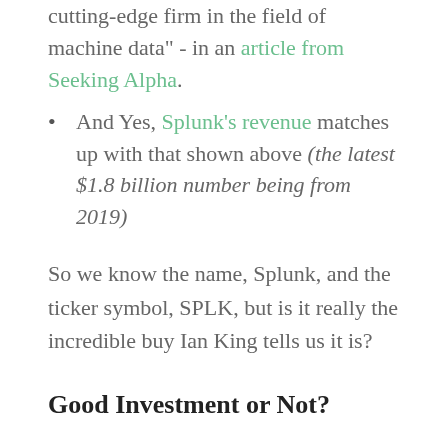cutting-edge firm in the field of machine data" - in an article from Seeking Alpha.
And Yes, Splunk's revenue matches up with that shown above (the latest $1.8 billion number being from 2019)
So we know the name, Splunk, and the ticker symbol, SPLK, but is it really the incredible buy Ian King tells us it is?
Good Investment or Not?